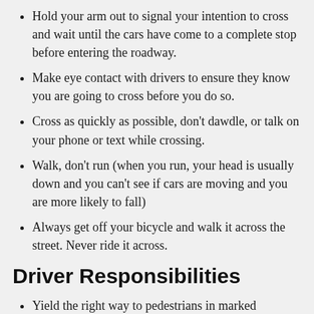Hold your arm out to signal your intention to cross and wait until the cars have come to a complete stop before entering the roadway.
Make eye contact with drivers to ensure they know you are going to cross before you do so.
Cross as quickly as possible, don't dawdle, or talk on your phone or text while crossing.
Walk, don't run (when you run, your head is usually down and you can't see if cars are moving and you are more likely to fall)
Always get off your bicycle and walk it across the street. Never ride it across.
Driver Responsibilities
Yield the right way to pedestrians in marked crosswalks.
Stop and make eye contact with pedestrians about to cross so they know you have seen